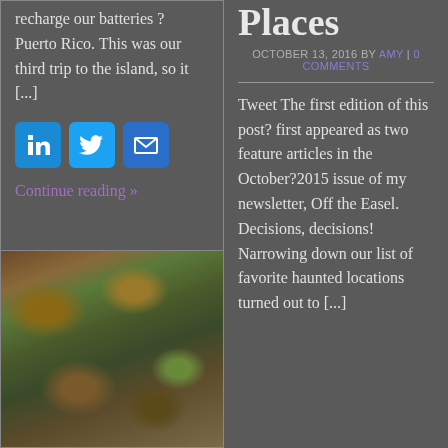recharge our batteries ? Puerto Rico. This was our third trip to the island, so it [...]
[Figure (infographic): Three social sharing icons: LinkedIn (blue), Twitter (blue bird), Email (dark blue envelope)]
Continue reading »
[Figure (photo): Close-up nature photo of leaves, moss, and small stones on a forest floor]
Places
OCTOBER 13, 2016 BY AMY | 0 COMMENTS
Tweet The first edition of this post? first appeared as two feature articles in the October?2015 issue of my newsletter, Off the Easel. Decisions, decisions! Narrowing down our list of favorite haunted locations turned out to [...]